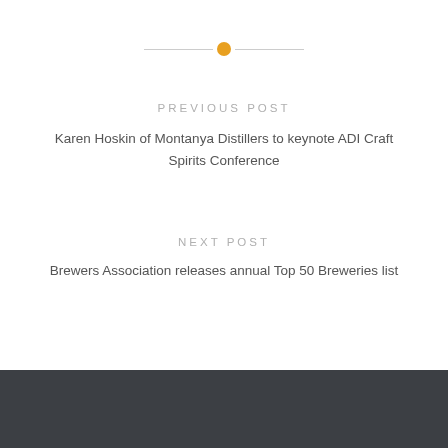PREVIOUS POST
Karen Hoskin of Montanya Distillers to keynote ADI Craft Spirits Conference
NEXT POST
Brewers Association releases annual Top 50 Breweries list